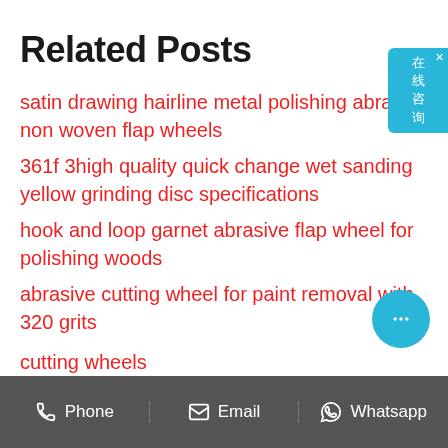Related Posts
satin drawing hairline metal polishing abrasive non woven flap wheels
361f 3high quality quick change wet sanding yellow grinding disc specifications
hook and loop garnet abrasive flap wheel for polishing woods
abrasive cutting wheel for paint removal with 320 grits
cutting wheels
Phone   Email   Whatsapp